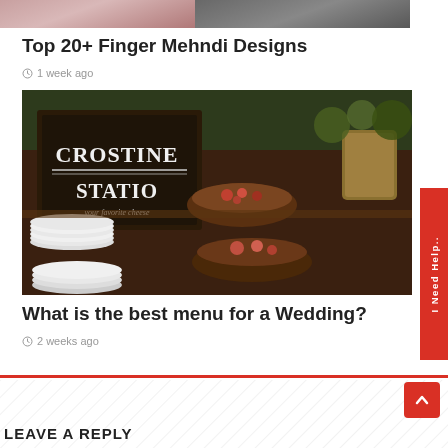[Figure (photo): Partial top image showing hands, cropped — two panels side by side]
Top 20+ Finger Mehndi Designs
1 week ago
[Figure (photo): Photo of a rustic outdoor food station with a chalkboard sign reading CROSTINE STATION, wooden shelves with food bowls and stacked white plates]
What is the best menu for a Wedding?
2 weeks ago
LEAVE A REPLY